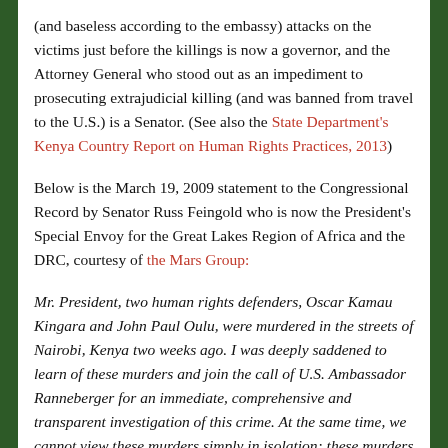(and baseless according to the embassy) attacks on the victims just before the killings is now a governor, and the Attorney General who stood out as an impediment to prosecuting extrajudicial killing (and was banned from travel to the U.S.) is a Senator. (See also the State Department's Kenya Country Report on Human Rights Practices, 2013)
Below is the March 19, 2009 statement to the Congressional Record by Senator Russ Feingold who is now the President's Special Envoy for the Great Lakes Region of Africa and the DRC, courtesy of the Mars Group:
Mr. President, two human rights defenders, Oscar Kamau Kingara and John Paul Oulu, were murdered in the streets of Nairobi, Kenya two weeks ago. I was deeply saddened to learn of these murders and join the call of U.S. Ambassador Ranneberger for an immediate, comprehensive and transparent investigation of this crime. At the same time, we cannot view these murders simply in isolation; these murders are part of a